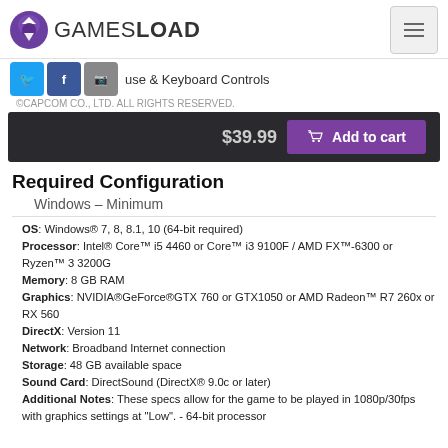GAMESLOAD
Mouse & Keyboard Controls
©CAPCOM CO., LTD. ALL RIGHTS RESERVED.
$39.99  Add to cart
Required Configuration
Windows - Minimum
OS: Windows® 7, 8, 8.1, 10 (64-bit required)
Processor: Intel® Core™ i5 4460 or Core™ i3 9100F / AMD FX™-6300 or Ryzen™ 3 3200G
Memory: 8 GB RAM
Graphics: NVIDIA®GeForce®GTX 760 or GTX1050 or AMD Radeon™ R7 260x or RX 560
DirectX: Version 11
Network: Broadband Internet connection
Storage: 48 GB available space
Sound Card: DirectSound (DirectX® 9.0c or later)
Additional Notes: These specs allow for the game to be played in 1080p/30fps with graphics settings at "Low". - 64-bit processor